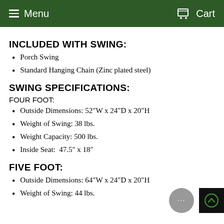Menu  Cart
INCLUDED WITH SWING:
Porch Swing
Standard Hanging Chain (Zinc plated steel)
SWING SPECIFICATIONS:
FOUR FOOT:
Outside Dimensions: 52"W x 24"D x 20"H
Weight of Swing: 38 lbs.
Weight Capacity: 500 lbs.
Inside Seat:  47.5" x 18"
FIVE FOOT:
Outside Dimensions: 64"W x 24"D x 20"H
Weight of Swing: 44 lbs.